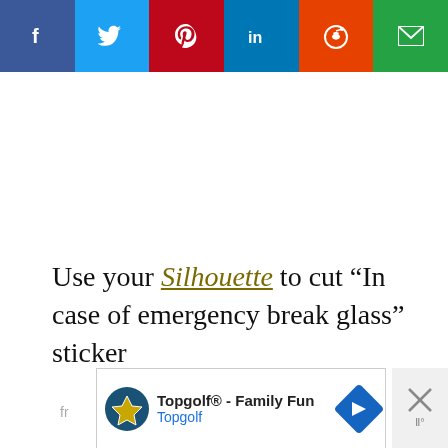[Figure (screenshot): Social media share bar with Facebook (blue), Twitter (light blue), Pinterest (red), LinkedIn (blue), Reddit (orange-red), and Email (green) buttons]
Use your Silhouette to cut “In case of emergency break glass” sticker
[Figure (screenshot): Advertisement banner for Topgolf - Family Fun Topgolf with logo and navigation arrow icon, with a close (X) button on the right]